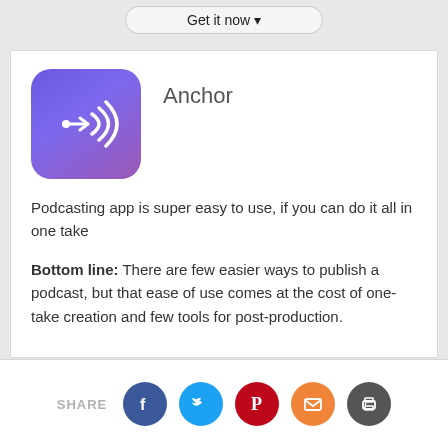Get it now ▾
[Figure (logo): Anchor app icon: purple gradient rounded square with white broadcast/wifi signal icon and arrow]
Anchor
Podcasting app is super easy to use, if you can do it all in one take
Bottom line: There are few easier ways to publish a podcast, but that ease of use comes at the cost of one-take creation and few tools for post-production.
SHARE